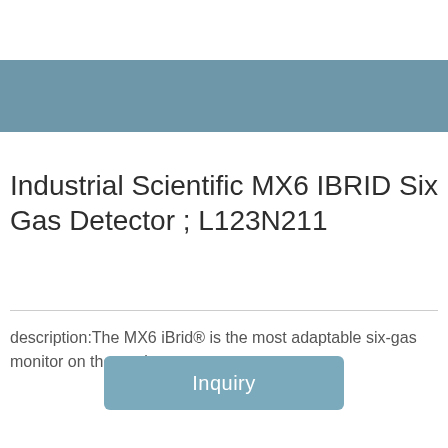[Figure (other): Steel blue/teal colored horizontal banner strip]
Industrial Scientific MX6 IBRID Six Gas Detector ; L123N211
description:The MX6 iBrid® is the most adaptable six-gas monitor on the market. ...
Inquiry